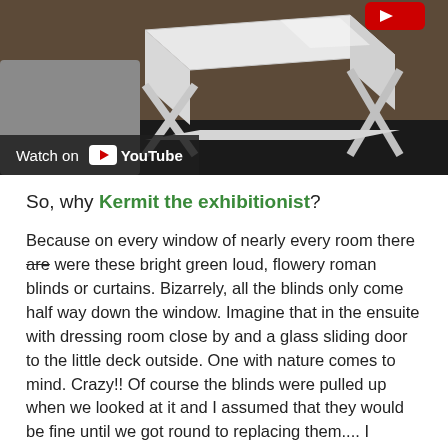[Figure (screenshot): A YouTube video thumbnail showing a white side table with X-shaped legs in a room. A 'Watch on YouTube' overlay bar is visible at the bottom left, with the YouTube play button icon and 'YouTube' text in white.]
So, why Kermit the exhibitionist?
Because on every window of nearly every room there are were these bright green loud, flowery roman blinds or curtains. Bizarrely, all the blinds only come half way down the window. Imagine that in the ensuite with dressing room close by and a glass sliding door to the little deck outside. One with nature comes to mind. Crazy!! Of course the blinds were pulled up when we looked at it and I assumed that they would be fine until we got round to replacing them.... I couldn't have had blinds that size 30 years ago let alone now.
So now I have a house full of curtains up for grabs. Any